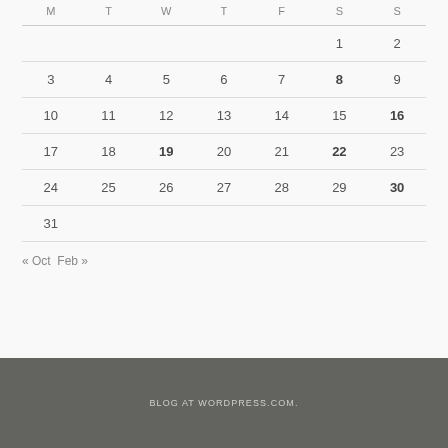| M | T | W | T | F | S | S |
| --- | --- | --- | --- | --- | --- | --- |
|  |  |  |  |  | 1 | 2 |
| 3 | 4 | 5 | 6 | 7 | 8 | 9 |
| 10 | 11 | 12 | 13 | 14 | 15 | 16 |
| 17 | 18 | 19 | 20 | 21 | 22 | 23 |
| 24 | 25 | 26 | 27 | 28 | 29 | 30 |
| 31 |  |  |  |  |  |  |
« Oct  Feb »
BLOG AT WORDPRESS.COM.